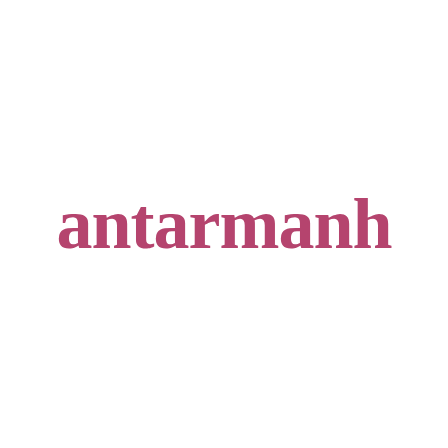[Figure (logo): antarmanh brand logo in dark rose/mauve color, serif typeface, lowercase lettering]